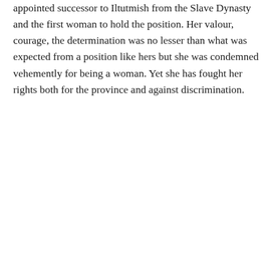appointed successor to Iltutmish from the Slave Dynasty and the first woman to hold the position. Her valour, courage, the determination was no lesser than what was expected from a position like hers but she was condemned vehemently for being a woman. Yet she has fought her rights both for the province and against discrimination.